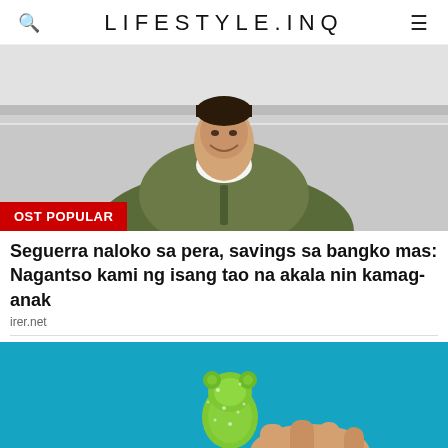LIFESTYLE.INQ
[Figure (photo): Young smiling person in olive/green bomber jacket, photographed from above/side, light background]
OST POPULAR
Seguerra naloko sa pera, savings sa bangko mas: Nagantso kami ng isang tao na akala nin kamag-anak
irer.net
[Figure (photo): Close-up of a hand holding a green gummy candy (bear-shaped) against a teal/blue background]